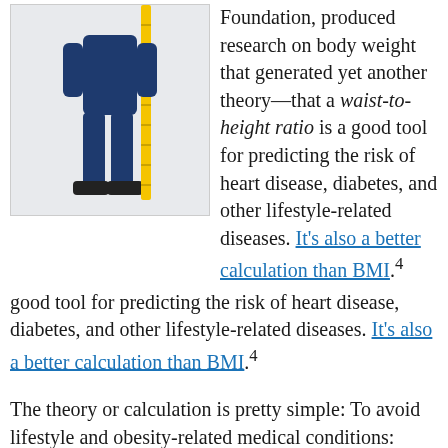[Figure (photo): A person standing upright wearing blue jeans and dark sneakers, with a yellow measuring tape or ruler placed vertically alongside their body to measure height.]
Foundation, produced research on body weight that generated yet another theory—that a waist-to-height ratio is a good tool for predicting the risk of heart disease, diabetes, and other lifestyle-related diseases. It's also a better calculation than BMI.4
The theory or calculation is pretty simple: To avoid lifestyle and obesity-related medical conditions: